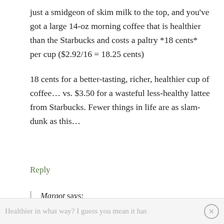just a smidgeon of skim milk to the top, and you've got a large 14-oz morning coffee that is healthier than the Starbucks and costs a paltry *18 cents* per cup ($2.92/16 = 18.25 cents)
18 cents for a better-tasting, richer, healthier cup of coffee… vs. $3.50 for a wasteful less-healthy lattee from Starbucks. Fewer things in life are as slam-dunk as this…
Reply
Margot says:
June 12, 2019 at 1:46 pm
Healthier in what way? I guess you mean it has